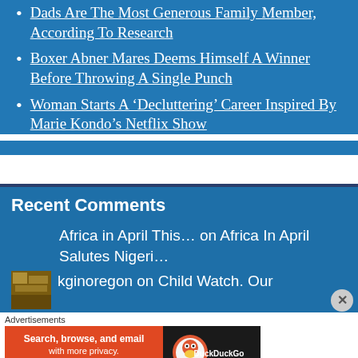Dads Are The Most Generous Family Member, According To Research
Boxer Abner Mares Deems Himself A Winner Before Throwing A Single Punch
Woman Starts A 'Decluttering' Career Inspired By Marie Kondo's Netflix Show
Recent Comments
Africa in April This… on Africa In April Salutes Nigeri…
kginoregon on Child Watch. Our
Advertisements
[Figure (screenshot): DuckDuckGo advertisement banner: Search, browse, and email with more privacy. All in One Free App. DuckDuckGo logo on dark background.]